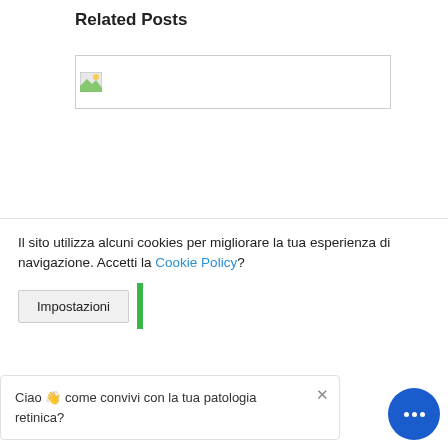Related Posts
[Figure (photo): Broken/placeholder image thumbnail with small image icon in top-left corner]
DIGITAL HEALTH E SETTORE OFTA: COSA PREVEDE IL PIANO NAZIONALE DI RIPRESA E
Il sito utilizza alcuni cookies per migliorare la tua esperienza di navigazione. Accetti la Cookie Policy?
Impostazioni
Ciao 👋 come convivi con la tua patologia retinica?